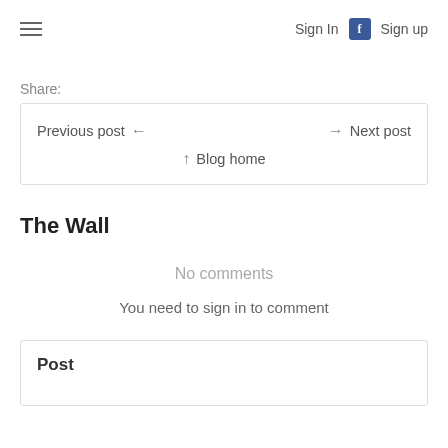Sign In  Sign up
Share:
Previous post ← → Next post ↑ Blog home
The Wall
No comments
You need to sign in to comment
Post